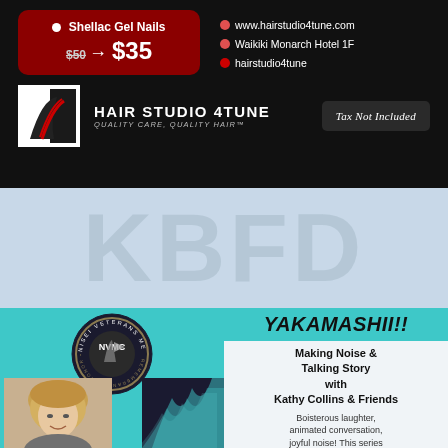[Figure (infographic): Hair Studio 4Tune advertisement on black background showing Shellac Gel Nails promotion ($50 to $35), contact info (www.hairstudio4tune.com, Waikiki Monarch Hotel 1F, hairstudio4tune), logo with salon name HAIR STUDIO 4TUNE QUALITY CARE, QUALITY HAIR, and Tax Not Included badge]
[Figure (logo): KBFD watermark text in large light blue-gray letters on light blue background]
[Figure (infographic): Nisei Veterans Memorial Center teal card with circular NVMC logo, photo of woman (Kathy Collins), and abstract design]
YAKAMASHII!!
Making Noise & Talking Story with Kathy Collins & Friends
Boisterous laughter, animated conversation, joyful noise! This series of fun interviews and